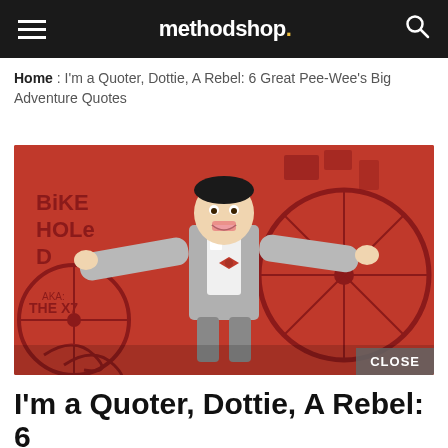methodshop.
Home : I'm a Quoter, Dottie, A Rebel: 6 Great Pee-Wee's Big Adventure Quotes
[Figure (photo): Pee-Wee Herman character in gray suit with red bow tie, arms outstretched, against a red illustrated background with bicycle imagery and text 'BIKE HOLE D' and 'AKA: THE X7']
I'm a Quoter, Dottie, A Rebel: 6 Great Pee-Wee's Big Adventure Quotes